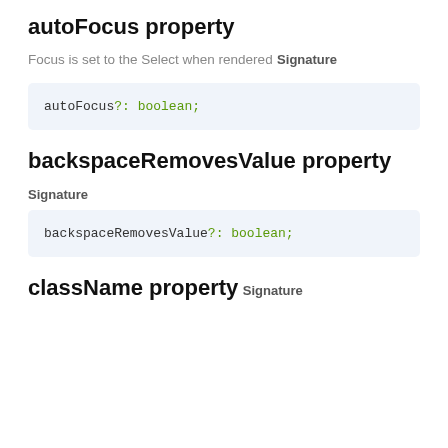autoFocus property
Focus is set to the Select when rendered
Signature
backspaceRemovesValue property
Signature
className property
Signature